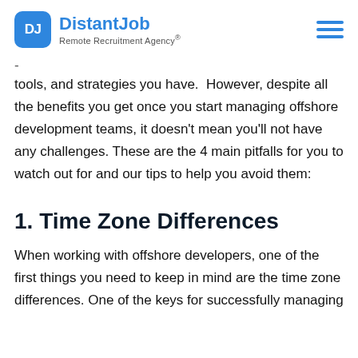DistantJob Remote Recruitment Agency®
tools, and strategies you have.  However, despite all the benefits you get once you start managing offshore development teams, it doesn't mean you'll not have any challenges. These are the 4 main pitfalls for you to watch out for and our tips to help you avoid them:
1. Time Zone Differences
When working with offshore developers, one of the first things you need to keep in mind are the time zone differences. One of the keys for successfully managing